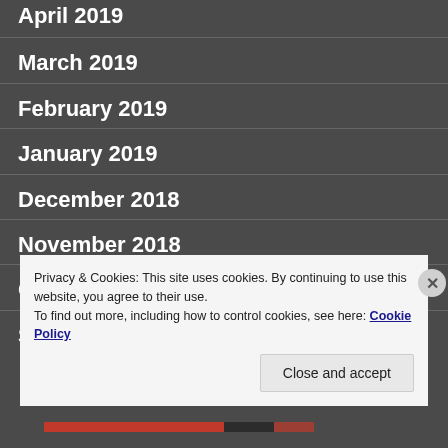April 2019
March 2019
February 2019
January 2019
December 2018
November 2018
October 2018
S...
Privacy & Cookies: This site uses cookies. By continuing to use this website, you agree to their use.
To find out more, including how to control cookies, see here: Cookie Policy
Close and accept